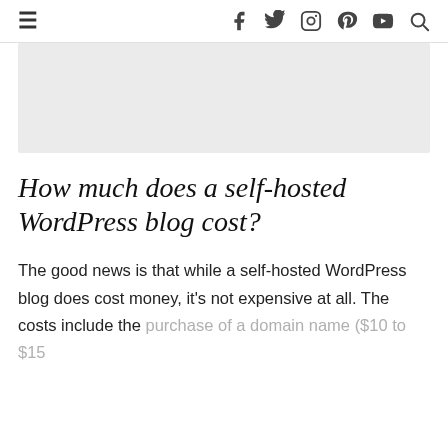☰  f  𝕥  ◎  ⊕  ▶  🔍
[Figure (other): Gray rectangular placeholder image area]
How much does a self-hosted WordPress blog cost?
The good news is that while a self-hosted WordPress blog does cost money, it's not expensive at all. The costs include the purchase of a domain name ($10 to $15 per year), and a hosting cost (for a...